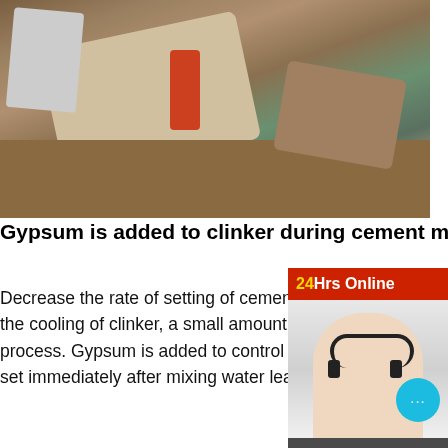[Figure (photo): Heavy construction machinery / rock crusher working at a quarry or demolition site, with excavator arm visible and rubble/earth in background]
Gypsum is added to clinker during cement manufacturing to:
Decrease the rate of setting of cement. During the cement manufacturing process, upon the cooling of clinker, a small amount of gypsum is introduced during the final grinding process. Gypsum is added to control the setting of cement. If not added, the cement will set immediately after mixing water leaving no time for concrete
More
[Figure (photo): Industrial mining or quarrying facility with conveyor belts and structural steel framework against a blue sky]
[Figure (photo): Advertisement banner: 24Hrs Online customer service agent (woman with headset smiling), with chat bubble icon and dark panel reading 'Need questions & suggestion? Chat Now', and red Enquire button]